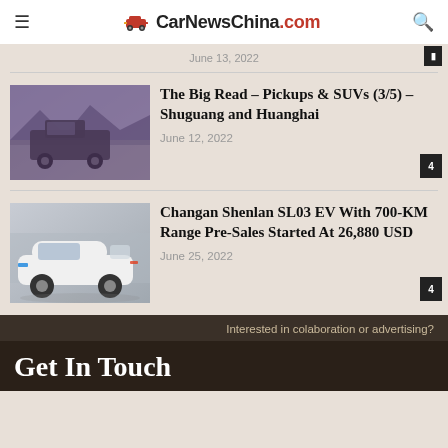CarNewsChina.com
June 13, 2022
The Big Read – Pickups & SUVs (3/5) – Shuguang and Huanghai
June 12, 2022
[Figure (photo): Pickup truck in a mountainous/coastal setting, sepia/purple tinted photo]
Changan Shenlan SL03 EV With 700-KM Range Pre-Sales Started At 26,880 USD
June 25, 2022
[Figure (photo): White electric sports car (Changan Shenlan SL03) at an auto show]
Interested in colaboration or advertising?
Get In Touch